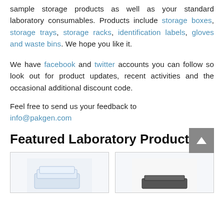sample storage products as well as your standard laboratory consumables. Products include storage boxes, storage trays, storage racks, identification labels, gloves and waste bins. We hope you like it.
We have facebook and twitter accounts you can follow so look out for product updates, recent activities and the occasional additional discount code.
Feel free to send us your feedback to info@pakgen.com
Featured Laboratory Products
[Figure (photo): Two product cards showing laboratory storage products, partially visible at bottom of page]